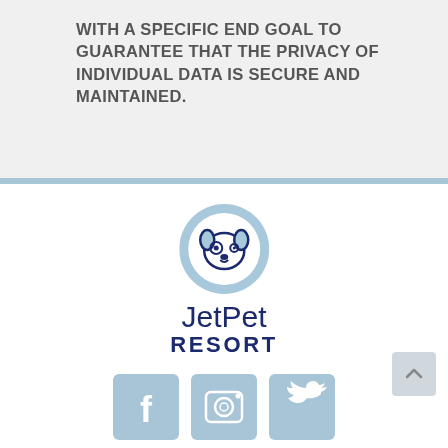WITH A SPECIFIC END GOAL TO GUARANTEE THAT THE PRIVACY OF INDIVIDUAL DATA IS SECURE AND MAINTAINED.
[Figure (logo): JetPet Resort logo with a light blue circle containing a dog face icon, and text 'JetPet RESORT' in dark navy blue below]
[Figure (other): Back to top button - grey rounded square with upward chevron arrow]
[Figure (other): Social media icons row: Facebook (f), Instagram (camera), Twitter (bird) - all in light blue rounded square buttons]